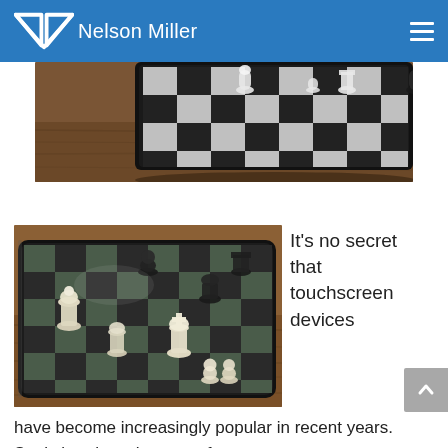Nelson Miller
[Figure (photo): Close-up photo of a chess set on a tablet/touchscreen device placed on a wooden surface, top view showing pieces from side angle]
[Figure (photo): Photo of a chess set with black and white pieces arranged on a chessboard displayed on a tablet touchscreen device on a wooden table]
It's no secret that touchscreen devices have become increasingly popular in recent years. Statistics show that manufacturers now